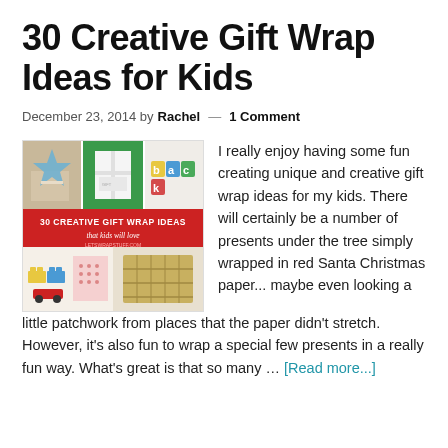30 Creative Gift Wrap Ideas for Kids
December 23, 2014 by Rachel — 1 Comment
[Figure (photo): Collage image showing creative gift wrap ideas for kids with text '30 Creative Gift Wrap Ideas that kids will love' on a red banner, letswrapstuff.com]
I really enjoy having some fun creating unique and creative gift wrap ideas for my kids. There will certainly be a number of presents under the tree simply wrapped in red Santa Christmas paper... maybe even looking a little patchwork from places that the paper didn't stretch. However, it's also fun to wrap a special few presents in a really fun way. What's great is that so many … [Read more...]